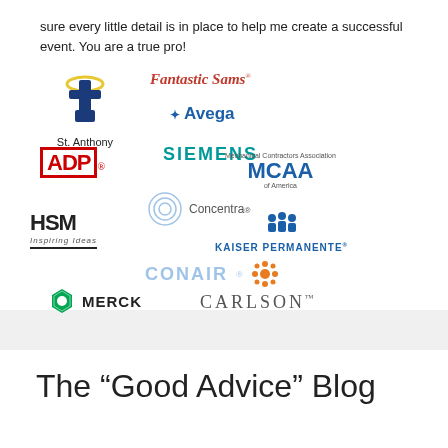sure every little detail is in place to help me create a successful event. You are a true pro!
[Figure (logo): Collection of company logos: St. Anthony, Fantastic Sams, Avega, Siemens, ADP, MCAA (Mechanical Contractors Association of America), Concentra, HSM Inspiring Ideas, Kaiser Permanente, Conair, Merck, Carlson]
The “Good Advice” Blog